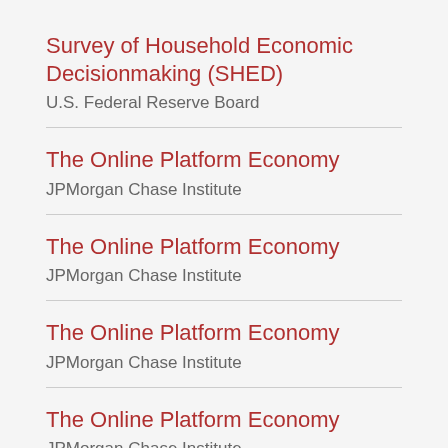Survey of Household Economic Decisionmaking (SHED)
U.S. Federal Reserve Board
The Online Platform Economy
JPMorgan Chase Institute
The Online Platform Economy
JPMorgan Chase Institute
The Online Platform Economy
JPMorgan Chase Institute
The Online Platform Economy
JPMorgan Chase Institute